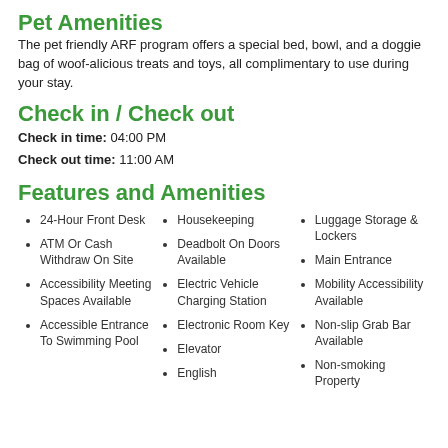Pet Amenities
The pet friendly ARF program offers a special bed, bowl, and a doggie bag of woof-alicious treats and toys, all complimentary to use during your stay.
Check in / Check out
Check in time: 04:00 PM
Check out time: 11:00 AM
Features and Amenities
24-Hour Front Desk
ATM Or Cash Withdraw On Site
Accessibility Meeting Spaces Available
Accessible Entrance To Swimming Pool
Housekeeping
Deadbolt On Doors Available
Electric Vehicle Charging Station
Electronic Room Key
Elevator
English
Luggage Storage & Lockers
Main Entrance
Mobility Accessibility Available
Non-slip Grab Bar Available
Non-smoking Property